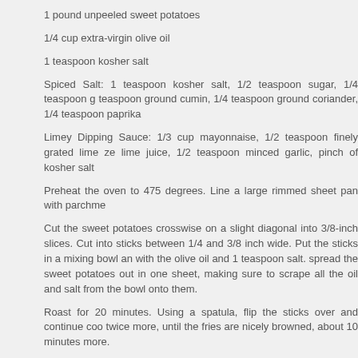1 pound unpeeled sweet potatoes
1/4 cup extra-virgin olive oil
1 teaspoon kosher salt
Spiced Salt: 1 teaspoon kosher salt, 1/2 teaspoon sugar, 1/4 teaspoon g teaspoon ground cumin, 1/4 teaspoon ground coriander, 1/4 teaspoon paprika
Limey Dipping Sauce: 1/3 cup mayonnaise, 1/2 teaspoon finely grated lime ze lime juice, 1/2 teaspoon minced garlic, pinch of kosher salt
Preheat the oven to 475 degrees. Line a large rimmed sheet pan with parchme
Cut the sweet potatoes crosswise on a slight diagonal into 3/8-inch slices. Cut into sticks between 1/4 and 3/8 inch wide. Put the sticks in a mixing bowl an with the olive oil and 1 teaspoon salt. spread the sweet potatoes out in one sheet, making sure to scrape all the oil and salt from the bowl onto them.
Roast for 20 minutes. Using a spatula, flip the sticks over and continue coo twice more, until the fries are nicely browned, about 10 minutes more.
Make the Limey Dipping Sauce: Combine all the ingredients in a small bow minutes. Make the Spiced Salt: Combine all the ingredients in a small bowl.
Sprinkle some of the Spiced Salt on the fries (be generous), toss well and s sauce.
Serves 3 to 4.
Debbie Moose, February 14th 2011 | Tags: chocolate, food, sweet potatoes
Posted in Life and Food in the South, Recipes and Other Kitchen Insanity